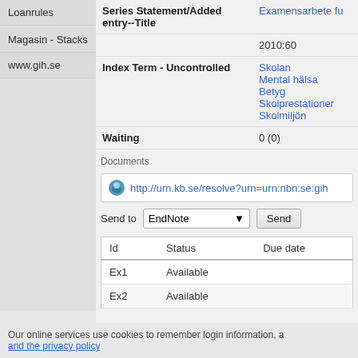Loanrules
Magasin - Stacks
www.gih.se
| Field | Value |
| --- | --- |
| Series Statement/Added entry--Title | Examensarbete fu... |
|  | 2010:60 |
| Index Term - Uncontrolled | Skolan
Mental hälsa
Betyg
Skolprestationer
Skolmiljön |
| Waiting | 0 (0) |
Documents
http://urn.kb.se/resolve?urn=urn:nbn:se:gih...
Send to  EndNote  Send
| Id | Status | Due date |
| --- | --- | --- |
| Ex1 | Available |  |
| Ex2 | Available |  |
Our online services use cookies to remember login information, a... and the privacy policy